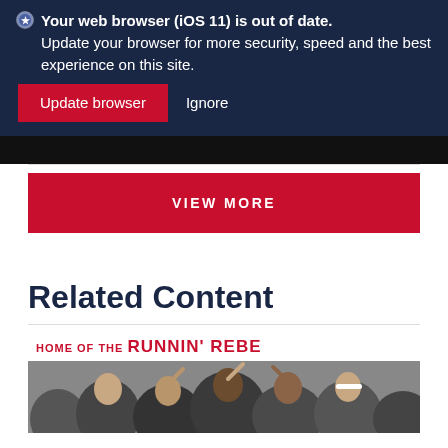Your web browser (iOS 11) is out of date. Update your browser for more security, speed and the best experience on this site.
Update browser  Ignore
[Figure (screenshot): Dark strip showing partial content from page above]
VIEW MORE
Related Content
[Figure (photo): Basketball team huddle photo under banner reading HOME OF THE RUNNIN' REBES]